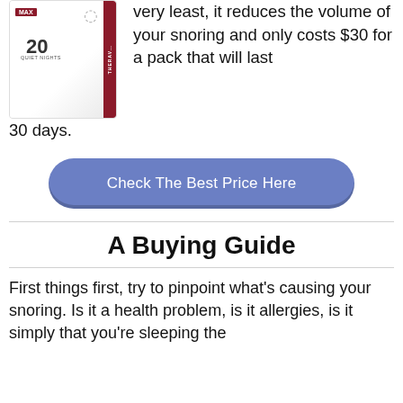[Figure (photo): Product image of Theravent MAX nasal strips box, showing 20 strips, with red/burgundy branding and a nose graphic on the side.]
very least, it reduces the volume of your snoring and only costs $30 for a pack that will last 30 days.
Check The Best Price Here
A Buying Guide
First things first, try to pinpoint what's causing your snoring. Is it a health problem, is it allergies, is it simply that you're sleeping the